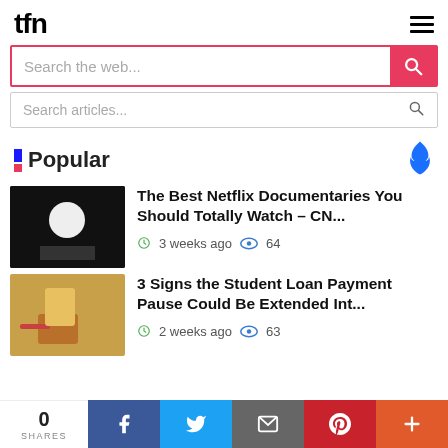tfn
Search the web...
Search articles...
Popular
The Best Netflix Documentaries You Should Totally Watch – CN...
3 weeks ago  64
3 Signs the Student Loan Payment Pause Could Be Extended Int...
2 weeks ago  63
0 SHARES